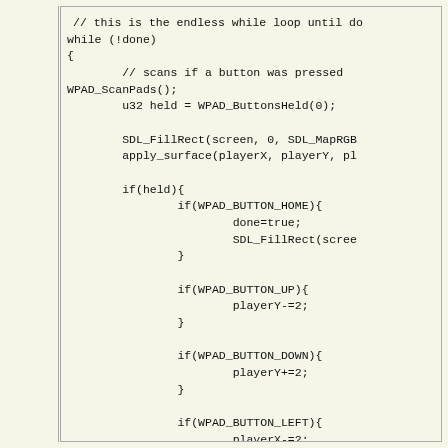// this is the endless while loop until do
while (!done)
{
        // scans if a button was pressed
WPAD_ScanPads();
        u32 held = WPAD_ButtonsHeld(0);

        SDL_FillRect(screen, 0, SDL_MapRGB
        apply_surface(playerX, playerY, pl

        if(held){
                if(WPAD_BUTTON_HOME){
                        done=true;
                        SDL_FillRect(scree
                }

                if(WPAD_BUTTON_UP){
                        playerY-=2;
                }

                if(WPAD_BUTTON_DOWN){
                        playerY+=2;
                }

                if(WPAD_BUTTON_LEFT){
                        playerX-=2;
                }

                if(WPAD_BUTTON_RIGHT){
                        playerX+=2;